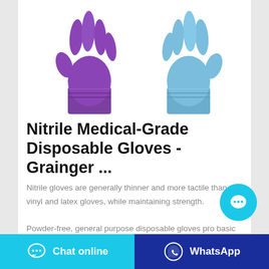[Figure (photo): Two disposable nitrile gloves — one purple on the left and one light blue on the right — shown against a white background.]
Nitrile Medical-Grade Disposable Gloves - Grainger ...
Nitrile gloves are generally thinner and more tactile than vinyl and latex gloves, while maintaining strength. Powder-free, general purpose disposable gloves provide basic hand protection against non-hazardous materials and do not have a powder coating inside the glove,